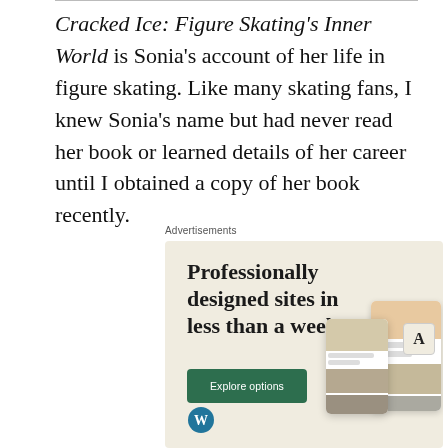Cracked Ice: Figure Skating's Inner World is Sonia's account of her life in figure skating. Like many skating fans, I knew Sonia's name but had never read her book or learned details of her career until I obtained a copy of her book recently.
Advertisements
[Figure (screenshot): Advertisement for WordPress.com featuring text 'Professionally designed sites in less than a week', a green 'Explore options' button, mock website screenshot UI cards, and the WordPress logo at the bottom.]